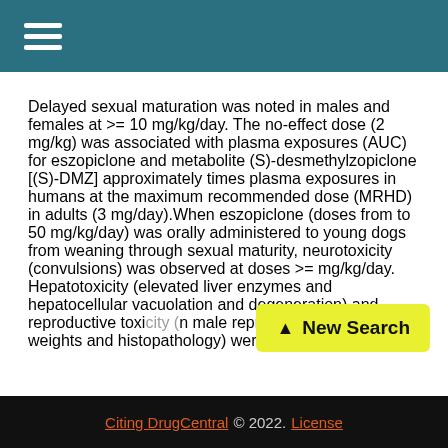Delayed sexual maturation was noted in males and females at >= 10 mg/kg/day. The no-effect dose (2 mg/kg) was associated with plasma exposures (AUC) for eszopiclone and metabolite (S)-desmethylzopiclone [(S)-DMZ] approximately times plasma exposures in humans at the maximum recommended dose (MRHD) in adults (3 mg/day).When eszopiclone (doses from to 50 mg/kg/day) was orally administered to young dogs from weaning through sexual maturity, neurotoxicity (convulsions) was observed at doses >= mg/kg/day. Hepatotoxicity (elevated liver enzymes and hepatocellular vacuolation and degeneration) and reproductive toxi... on male reproductive organ weights and histopathology) were
Citing DrugCentral © 2022. License